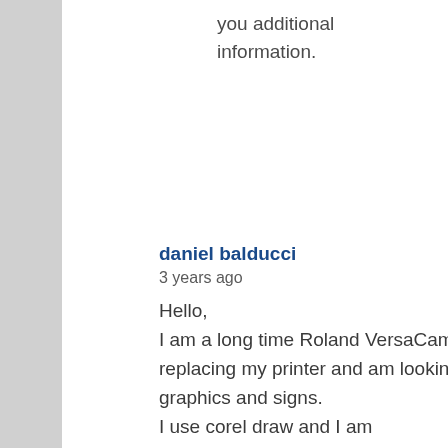you additional information.
daniel balducci
3 years ago
Hello,
I am a long time Roland VersaCamm user. I am going to be replacing my printer and am looking at Epson. I make vehicle graphics and signs.
I use corel draw and I am